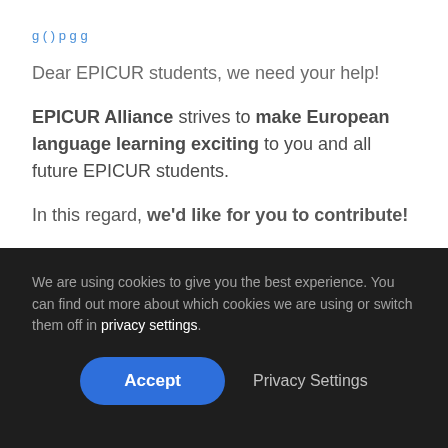Dear EPICUR students, we need your help!
EPICUR Alliance strives to make European language learning exciting to you and all future EPICUR students.
In this regard, we'd like for you to contribute!
We are using cookies to give you the best experience. You can find out more about which cookies we are using or switch them off in privacy settings.